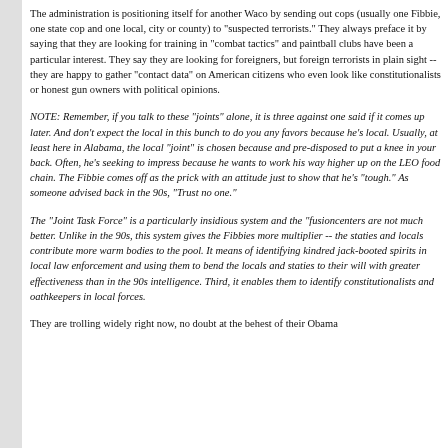The administration is positioning itself for another Waco by sending out cops (usually one Fibbie, one state cop and one local, city or county) to "suspected terrorists." They always preface it by saying that they are looking for training in "combat tactics" and paintball clubs have been a particular interest. They say they are looking for foreigners, but foreign terrorists in plain sight -- they are happy to gather "contact data" on American citizens who even look like constitutionalists or honest gun owners with political opinions.
NOTE: Remember, if you talk to these "joints" alone, it is three against one said if it comes up later. And don't expect the local in this bunch to do you any favors because he's local. Usually, at least here in Alabama, the local "joint" is chosen because and pre-disposed to put a knee in your back. Often, he's seeking to impress because he wants to work his way higher up on the LEO food chain. The Fibbie comes off as the prick with an attitude just to show that he's "tough." As someone advised back in the 90s, "Trust no one."
The "Joint Task Force" is a particularly insidious system and the "fusion" centers are not much better. Unlike in the 90s, this system gives the Fibbies more manpower as a multiplier -- the staties and locals contribute more warm bodies to the pool. Second, it means of identifying kindred jack-booted spirits in local law enforcement and using them to bend the locals and staties to their will with greater effectiveness than in the 90s intelligence. Third, it enables them to identify constitutionalists and oathkeepers in local forces.
They are trolling widely right now, no doubt at the behest of their Obama